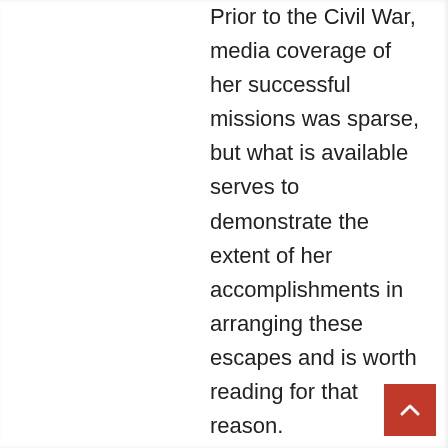Prior to the Civil War, media coverage of her successful missions was sparse, but what is available serves to demonstrate the extent of her accomplishments in arranging these escapes and is worth reading for that reason.
Her earliest attempted escape occurred with two of her brothers, Harry and Ben, according to an October 1849 “runaway slave” ad in which she is referred to by her early nickname, Minty, which she still uses today.
Photograph courtesy of the Bucktown Village Foundation in Cambridge, Maryland.